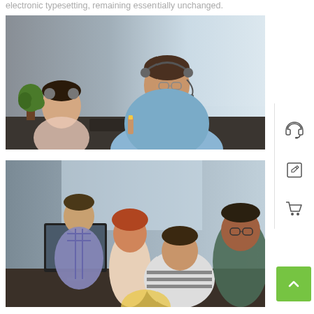electronic typesetting, remaining essentially unchanged.
[Figure (photo): Man wearing headset and glasses, sitting at a desk with keyboard, working in a bright office. A woman with headphones is visible in the background.]
[Figure (photo): Group of office workers gathered around a computer, collaborating. A woman in a striped shirt and a man with glasses are prominent.]
[Figure (infographic): Sidebar with three icons: headset/support icon, edit/pencil icon, and shopping cart icon. A green scroll-to-top arrow button is also present.]